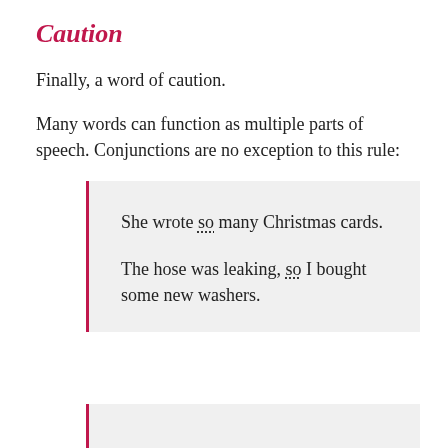Caution
Finally, a word of caution.
Many words can function as multiple parts of speech. Conjunctions are no exception to this rule:
She wrote so many Christmas cards.

The hose was leaking, so I bought some new washers.